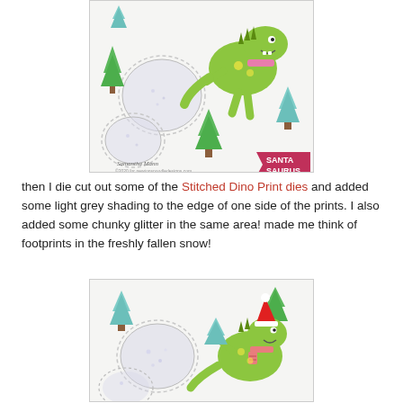[Figure (illustration): A crafting card scene with a green dinosaur wearing a pink scarf, Christmas trees, snowy dino footprint die cuts, and a pink ribbon banner reading 'Santa Saurus'. Watermark reads 'Samantha Mann'.]
then I die cut out some of the Stitched Dino Print dies and added some light grey shading to the edge of one side of the prints. I also added some chunky glitter in the same area! made me think of footprints in the freshly fallen snow!
[Figure (illustration): A crafting card scene with a green dinosaur wearing a Santa hat and pink scarf, Christmas trees, and shimmery circular dino footprint die cuts on a white background.]